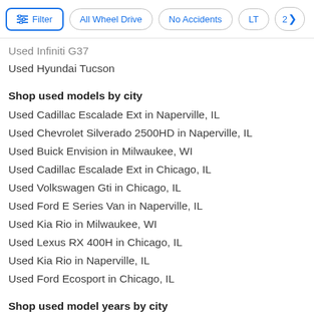Filter | All Wheel Drive | No Accidents | LT | 2>
Used Infiniti G37
Used Hyundai Tucson
Shop used models by city
Used Cadillac Escalade Ext in Naperville, IL
Used Chevrolet Silverado 2500HD in Naperville, IL
Used Buick Envision in Milwaukee, WI
Used Cadillac Escalade Ext in Chicago, IL
Used Volkswagen Gti in Chicago, IL
Used Ford E Series Van in Naperville, IL
Used Kia Rio in Milwaukee, WI
Used Lexus RX 400H in Chicago, IL
Used Kia Rio in Naperville, IL
Used Ford Ecosport in Chicago, IL
Shop used model years by city
Used Chevrolet Malibu 2013 in Naperville, IL
Used Chevrolet Malibu 2013 in Milwaukee, WI